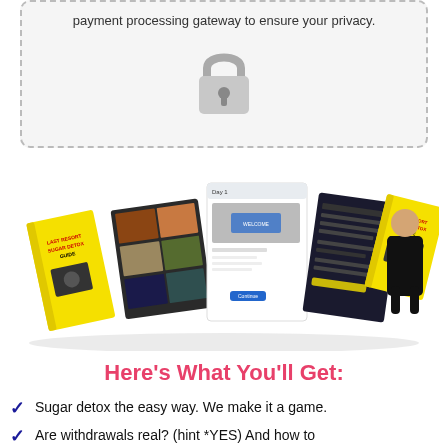payment processing gateway to ensure your privacy.
[Figure (illustration): A grey padlock icon inside a dashed-border rounded rectangle with light grey background, symbolizing secure payment.]
[Figure (infographic): A collage of product images including a yellow book titled 'Last Resort Sugar Detox Guide', a Zoom-style video call grid, a course platform day 1 page, a dark chat interface, and a person in black clothing.]
Here's What You'll Get:
Sugar detox the easy way. We make it a game.
Are withdrawals real? (hint *YES) And how to